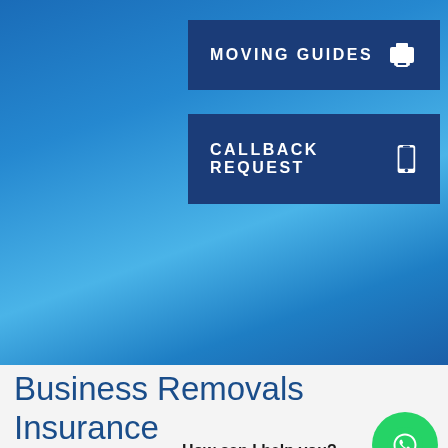[Figure (screenshot): Blue gradient background with two dark navy blue navigation buttons: 'MOVING GUIDES' with a printer icon, and 'CALLBACK REQUEST' with a phone icon]
Business Removals Insurance
How can I help you?
As London's leading office removalist, our approach to insurance is to have the best, but to do everything we can to ensure we don't use it. Our first line of risk management is to ensure that every move is successful, which means meticulous